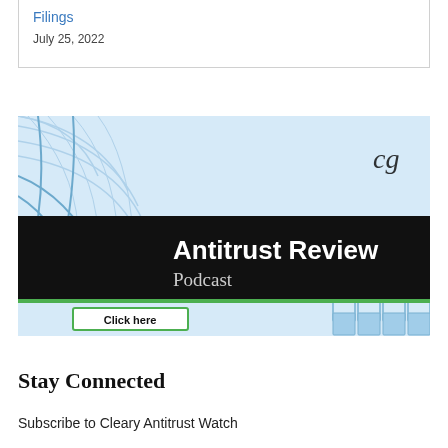Filings
July 25, 2022
[Figure (illustration): Antitrust Review Podcast banner with blue globe grid pattern, black bar with white text reading 'Antitrust Review Podcast', green accent line, and a 'Click here' button with green border on light blue background. Cleary Gottlieb cursive logo in upper right.]
Stay Connected
Subscribe to Cleary Antitrust Watch